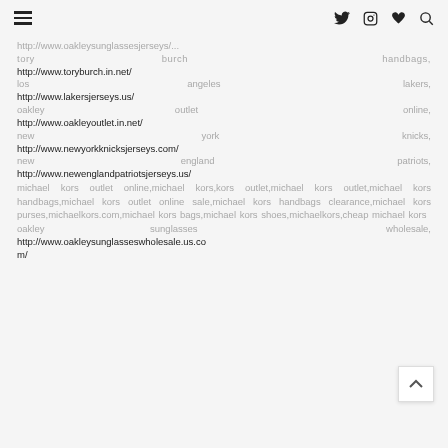[hamburger menu] [twitter] [instagram] [heart] [search]
http://www.oakleysunglassesjerseys/... tory burch handbags, http://www.toryburch.in.net/
los angeles lakers, http://www.lakersjerseys.us/
oakley outlet online, http://www.oakleyoutlet.in.net/
new york knicks, http://www.newyorkknicksjerseys.com/
new england patriots, http://www.newenglandpatriotsjerseys.us/
michael kors outlet online,michael kors,kors outlet,michael kors outlet,michael kors handbags,michael kors outlet online sale,michael kors handbags clearance,michael kors purses,michaelkors.com,michael kors bags,michael kors shoes,michaelkors,cheap michael kors
oakley sunglasses wholesale, http://www.oakleysunglasseswholesale.us.com/